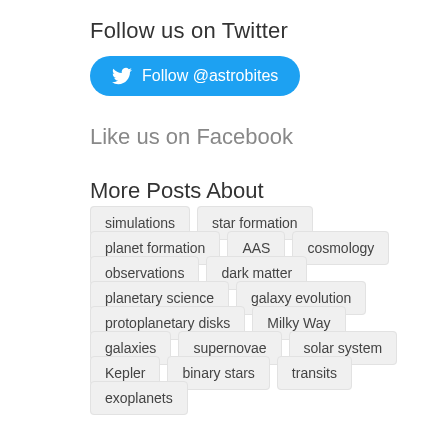Follow us on Twitter
Follow @astrobites
Like us on Facebook
More Posts About
simulations
star formation
planet formation
AAS
cosmology
observations
dark matter
planetary science
galaxy evolution
protoplanetary disks
Milky Way
galaxies
supernovae
solar system
Kepler
binary stars
transits
exoplanets